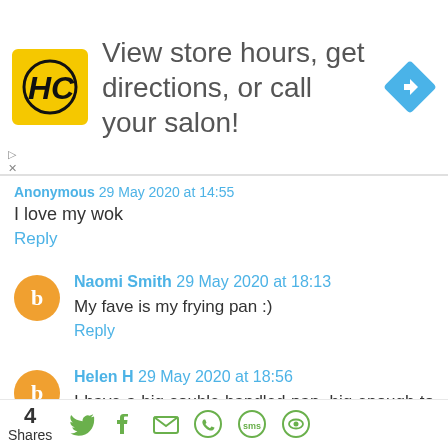[Figure (infographic): Advertisement banner: HC logo (yellow square with HC text), text 'View store hours, get directions, or call your salon!', blue diamond navigation icon]
Anonymous 29 May 2020 at 14:55
I love my wok
Reply
Naomi Smith 29 May 2020 at 18:13
My fave is my frying pan :)
Reply
Helen H 29 May 2020 at 18:56
I have a big souble handled pan, big enough to cook up extra for freezing, not too big that it's difficult to handle. love
[Figure (infographic): Share bar with count '4 Shares' and icons for Twitter, Facebook, Email, WhatsApp, SMS, and another share option]